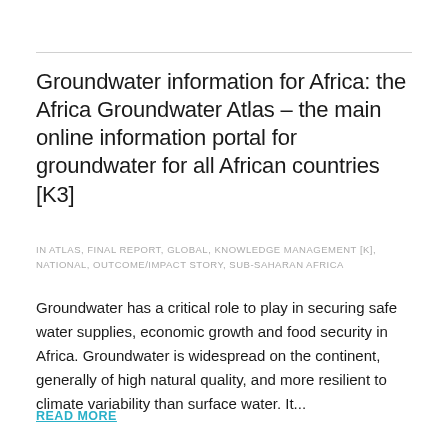Groundwater information for Africa: the Africa Groundwater Atlas – the main online information portal for groundwater for all African countries [K3]
IN ATLAS, FINAL REPORT, GLOBAL, KNOWLEDGE MANAGEMENT [K], NATIONAL, OUTCOME/IMPACT STORY, SUB-SAHARAN AFRICA
Groundwater has a critical role to play in securing safe water supplies, economic growth and food security in Africa. Groundwater is widespread on the continent, generally of high natural quality, and more resilient to climate variability than surface water. It...
READ MORE